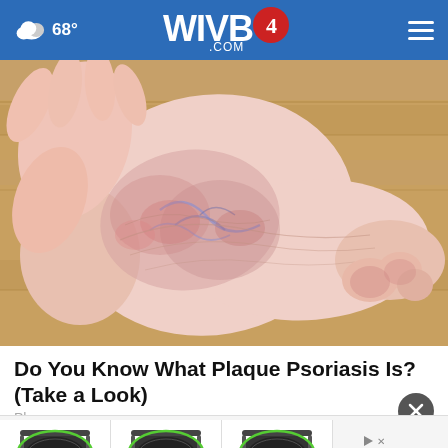WIVB4.COM — 68°
[Figure (photo): Close-up photograph of a human foot/ankle showing red, inflamed, scaly skin consistent with plaque psoriasis, held up against a wooden floor background.]
Do You Know What Plaque Psoriasis Is? (Take a Look)
Plaqu
[Figure (photo): Advertisement strip showing three trampoline product images side by side with an ad badge on the right (green logo, play icon, X button).]